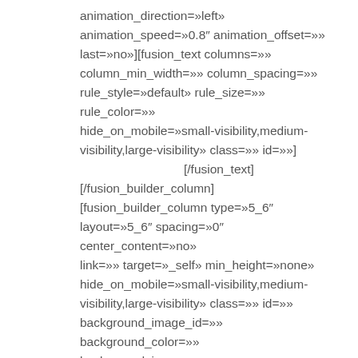animation_direction=»left» animation_speed=»0.8″ animation_offset=»» last=»no»][fusion_text columns=»» column_min_width=»» column_spacing=»» rule_style=»default» rule_size=»» rule_color=»» hide_on_mobile=»small-visibility,medium-visibility,large-visibility» class=»» id=»»]                [/fusion_text][/fusion_builder_column][fusion_builder_column type=»5_6″ layout=»5_6″ spacing=»0″ center_content=»no» link=»» target=»_self» min_height=»none» hide_on_mobile=»small-visibility,medium-visibility,large-visibility» class=»» id=»» background_image_id=»» background_color=»» background_image=»» background_position=»left top» undefined=»» background_repeat=»no-repeat»